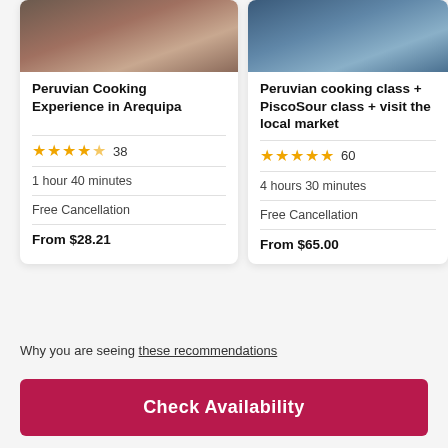[Figure (photo): Photo of people at a cooking class in Arequipa, top of card 1]
Peruvian Cooking Experience in Arequipa
★★★★½ 38
1 hour 40 minutes
Free Cancellation
From $28.21
[Figure (photo): Photo of people at a Peruvian cooking class, top of card 2]
Peruvian cooking class + PiscoSour class + visit the local market
★★★★★ 60
4 hours 30 minutes
Free Cancellation
From $65.00
[Figure (photo): Partial photo, top of card 3 (cropped)]
Cha... Maki... (partially visible)
★★ (partially visible)
2 hou... (partially visible)
Free... (partially visible)
From... (partially visible)
Why you are seeing these recommendations
Check Availability